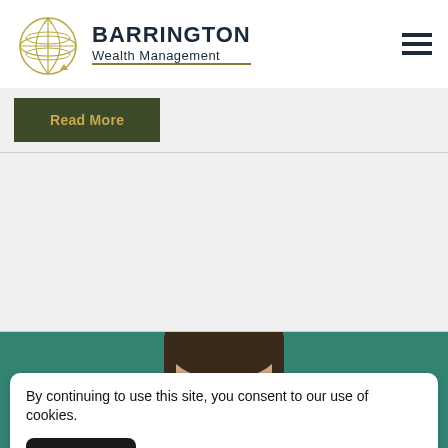[Figure (logo): Barrington Wealth Management logo with globe icon and text]
Read More
[Figure (photo): Partial photo of a person against a teal/green background]
By continuing to use this site, you consent to our use of cookies.
ACCEPT